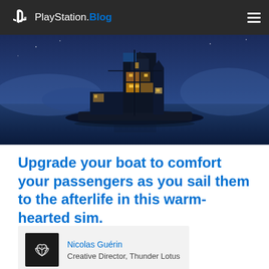PlayStation.Blog
[Figure (screenshot): Game screenshot showing a large boat with stacked buildings and glowing windows floating on dark blue water at night, with mountains silhouetted in a blue hazy background.]
Upgrade your boat to comfort your passengers as you sail them to the afterlife in this warm-hearted sim.
Nicolas Guérin
Creative Director, Thunder Lotus